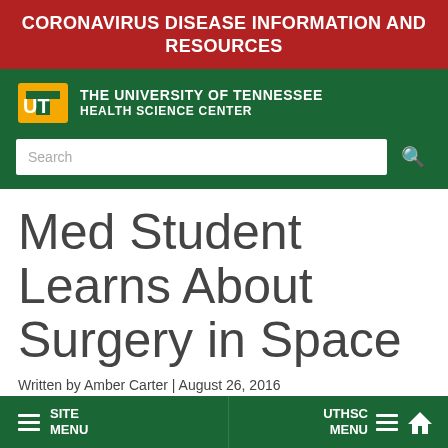CORONAVIRUS DISEASE INFORMATION AND RESOURCES
[Figure (logo): University of Tennessee Health Science Center logo with orange UT mark and white text on green background]
Med Student Learns About Surgery in Space
Written by Amber Carter | August 26, 2016
SITE MENU | UTHSC MENU